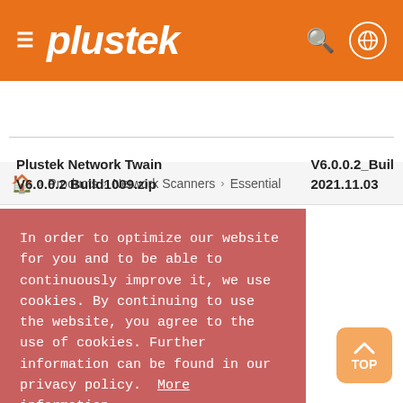plustek
Products > Network Scanners > Essential
Plustek Network Twain V6.0.0.2 Build1009.zip
V6.0.0.2_Build
2021.11.03
In order to optimize our website for you and to be able to continuously improve it, we use cookies. By continuing to use the website, you agree to the use of cookies. Further information can be found in our privacy policy.  More information
Decline
Accept